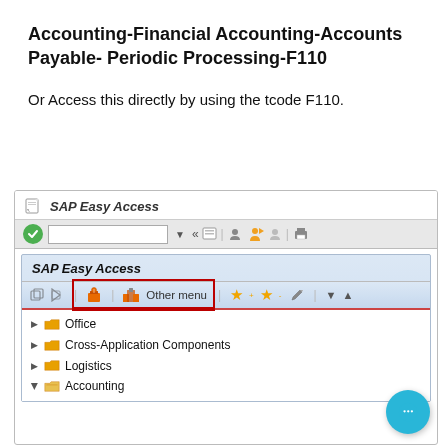Accounting-Financial Accounting-Accounts Payable- Periodic Processing-F110
Or Access this directly by using the tcode F110.
[Figure (screenshot): SAP Easy Access screen showing the navigation tree with Office, Cross-Application Components, Logistics, and Accounting folders, along with the toolbar with icons and 'Other menu' button.]